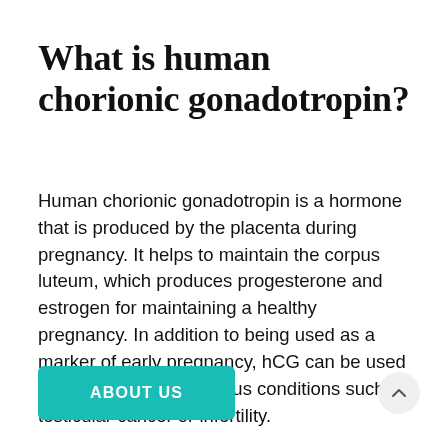What is human chorionic gonadotropin?
Human chorionic gonadotropin is a hormone that is produced by the placenta during pregnancy. It helps to maintain the corpus luteum, which produces progesterone and estrogen for maintaining a healthy pregnancy. In addition to being used as a marker of early pregnancy, hCG can be used in the diagnosis of various conditions such as testicular cancer or infertility.
ABOUT US